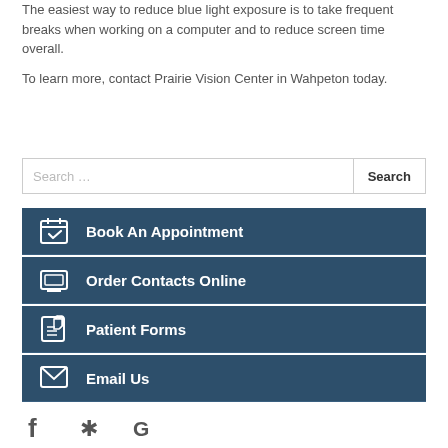The easiest way to reduce blue light exposure is to take frequent breaks when working on a computer and to reduce screen time overall.
To learn more, contact Prairie Vision Center in Wahpeton today.
Book An Appointment
Order Contacts Online
Patient Forms
Email Us
[Figure (illustration): Social media icons: Facebook, Yelp, Google]